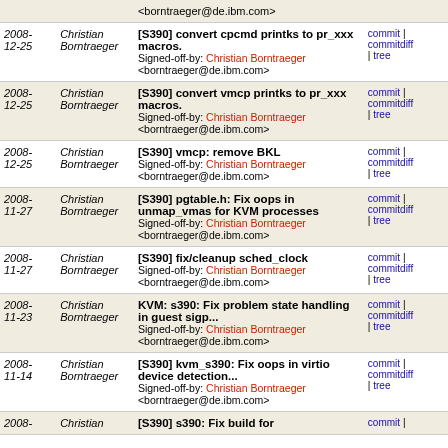| Date | Author | Commit | Links |
| --- | --- | --- | --- |
|  |  | <borntraeger@de.ibm.com> |  |
| 2008-12-25 | Christian Borntraeger | [S390] convert cpcmd printks to pr_xxx macros.
Signed-off-by: Christian Borntraeger <borntraeger@de.ibm.com> | commit | commitdiff | tree |
| 2008-12-25 | Christian Borntraeger | [S390] convert vmcp printks to pr_xxx macros.
Signed-off-by: Christian Borntraeger <borntraeger@de.ibm.com> | commit | commitdiff | tree |
| 2008-12-25 | Christian Borntraeger | [S390] vmcp: remove BKL
Signed-off-by: Christian Borntraeger <borntraeger@de.ibm.com> | commit | commitdiff | tree |
| 2008-11-27 | Christian Borntraeger | [S390] pgtable.h: Fix oops in unmap_vmas for KVM processes
Signed-off-by: Christian Borntraeger <borntraeger@de.ibm.com> | commit | commitdiff | tree |
| 2008-11-27 | Christian Borntraeger | [S390] fix/cleanup sched_clock
Signed-off-by: Christian Borntraeger <borntraeger@de.ibm.com> | commit | commitdiff | tree |
| 2008-11-23 | Christian Borntraeger | KVM: s390: Fix problem state handling in guest sigp...
Signed-off-by: Christian Borntraeger <borntraeger@de.ibm.com> | commit | commitdiff | tree |
| 2008-11-14 | Christian Borntraeger | [S390] kvm_s390: Fix oops in virtio device detection...
Signed-off-by: Christian Borntraeger <borntraeger@de.ibm.com> | commit | commitdiff | tree |
| 2008- | Christian | [S390] s390: Fix build for | commit | |